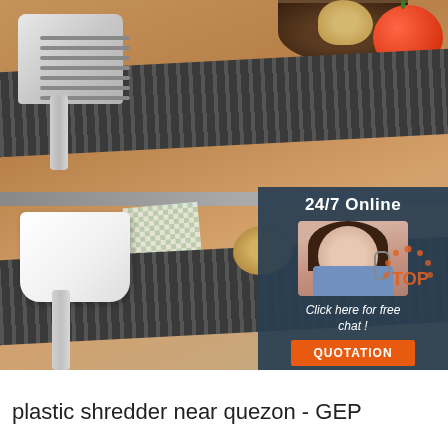[Figure (photo): Product photo showing two kitchen utensils (a slotted stainless steel spatula on top, and a white ceramic/stainless spatula-spoon on bottom) displayed on dark ridged backgrounds against a wooden surface. A tomato, potatoes, and a dark bowl are visible. An overlay box in the upper right shows a customer service agent with headset, text '24/7 Online', 'Click here for free chat!', an orange 'QUOTATION' button, and a 'TOP' logo watermark in the lower right corner.]
plastic shredder near quezon - GEP